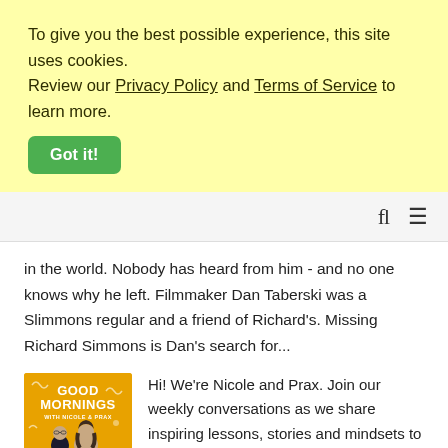To give you the best possible experience, this site uses cookies. Review our Privacy Policy and Terms of Service to learn more.
Got it!
in the world. Nobody has heard from him - and no one knows why he left. Filmmaker Dan Taberski was a Slimmons regular and a friend of Richard's. Missing Richard Simmons is Dan's search for...
[Figure (photo): Good Mornings with Nicole and Prax podcast cover image - yellow/orange background with two people and white text]
Hi! We're Nicole and Prax. Join our weekly conversations as we share inspiring lessons, stories and mindsets to help you free-up time and space to live a happier, healthier and more productive life 🙂 We try to to motivate, inspire and minsan maging